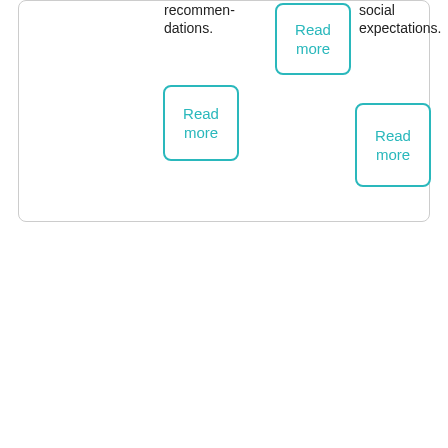recommendations.
[Figure (other): Teal rounded-rectangle button labeled 'Read more']
social expectations.
[Figure (other): Teal rounded-rectangle button labeled 'Read more']
[Figure (other): Teal rounded-rectangle button labeled 'Read more']